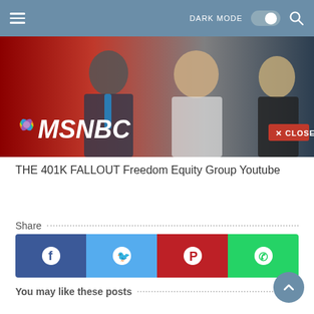DARK MODE [toggle] [search]
[Figure (screenshot): MSNBC YouTube video thumbnail showing TV hosts against a red background with NBC peacock logo and MSNBC wordmark, with a red X CLOSE button overlay]
THE 401K FALLOUT Freedom Equity Group Youtube
Share ........................................
[Figure (infographic): Social share buttons: Facebook (dark blue), Twitter (light blue), Pinterest (dark red), WhatsApp (green)]
You may like these posts ...............................